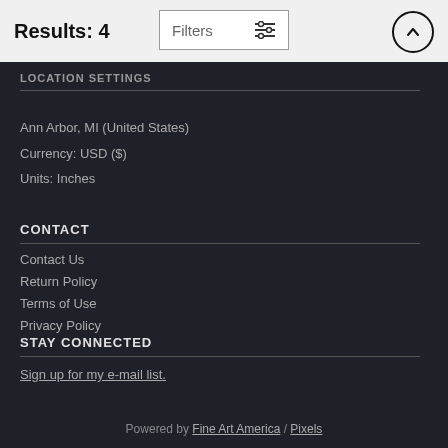Results: 4
LOCATION SETTINGS
Ann Arbor, MI (United States)
Currency: USD ($)
Units: Inches
CONTACT
Contact Us
Return Policy
Terms of Use
Privacy Policy
STAY CONNECTED
Sign up for my e-mail list.
Powered by Fine Art America / Pixels